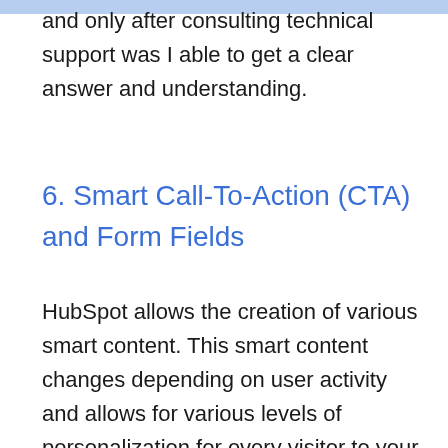and only after consulting technical support was I able to get a clear answer and understanding.
6. Smart Call-To-Action (CTA) and Form Fields
HubSpot allows the creation of various smart content. This smart content changes depending on user activity and allows for various levels of personalization for every visitor to your site. While this is a topic that I could dive deep into, for now, I just want to focus on smart CTA's and form fields (also